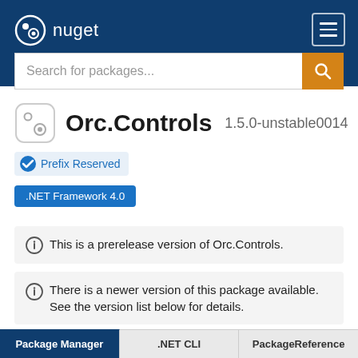nuget
[Figure (screenshot): NuGet search bar with orange search button]
Orc.Controls 1.5.0-unstable0014
Prefix Reserved
.NET Framework 4.0
This is a prerelease version of Orc.Controls.
There is a newer version of this package available. See the version list below for details.
Package Manager  .NET CLI  PackageReference